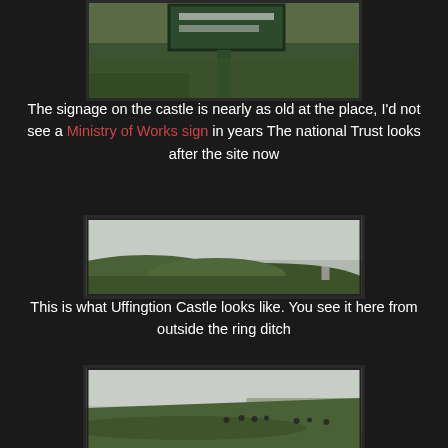[Figure (photo): Photo of a Ministry of Works sign on a green metal post in a grassy landscape, partially cropped at top]
The signage on the castle is nearly as old at the place, I'd not see a Ministry of Works sign in years The national Trust looks after the site now
[Figure (photo): Panoramic photo of Uffington Castle earthworks — green rolling hills with a small marker visible, overcast sky]
This is what Uffingtion Castle looks like. You see it here from outside the ring ditch
[Figure (photo): Photo of green grassy hillside with ring ditch earthworks and scattered sheep/cattle, overcast sky, fields in background]